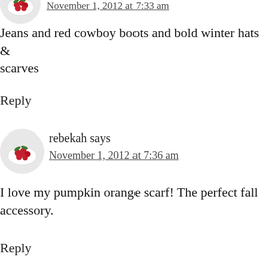[Figure (photo): Circular avatar image showing a plate of red berries/cherries with green leaves on a white background, partially visible at top]
November 1, 2012 at 7:33 am
Jeans and red cowboy boots and bold winter hats & scarves
Reply
[Figure (photo): Circular avatar image showing a plate of red cranberries/cherries with green leaves on a white background]
rebekah says
November 1, 2012 at 7:36 am
I love my pumpkin orange scarf! The perfect fall accessory.
Reply